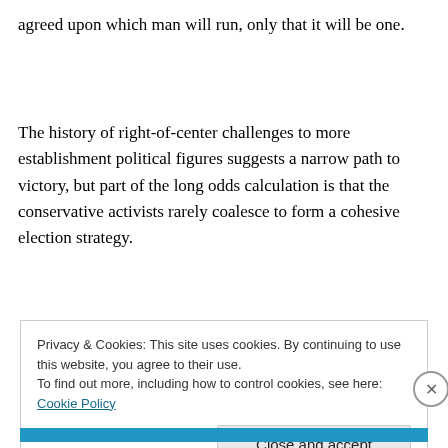agreed upon which man will run, only that it will be one.
The history of right-of-center challenges to more establishment political figures suggests a narrow path to victory, but part of the long odds calculation is that the conservative activists rarely coalesce to form a cohesive election strategy.
Privacy & Cookies: This site uses cookies. By continuing to use this website, you agree to their use.
To find out more, including how to control cookies, see here: Cookie Policy
Close and accept